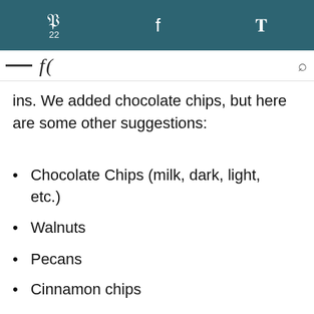p 22  f  y
ins. We added chocolate chips, but here are some other suggestions:
Chocolate Chips (milk, dark, light, etc.)
Walnuts
Pecans
Cinnamon chips
White chocolate chips